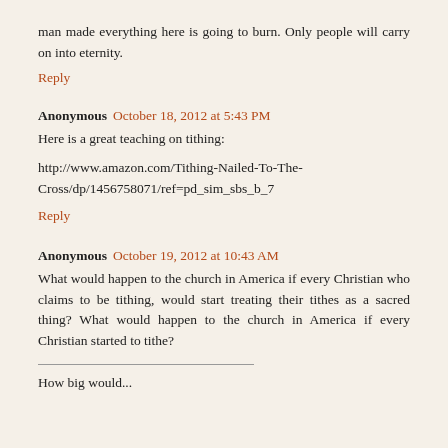man made everything here is going to burn. Only people will carry on into eternity.
Reply
Anonymous October 18, 2012 at 5:43 PM
Here is a great teaching on tithing:
http://www.amazon.com/Tithing-Nailed-To-The-Cross/dp/1456758071/ref=pd_sim_sbs_b_7
Reply
Anonymous October 19, 2012 at 10:43 AM
What would happen to the church in America if every Christian who claims to be tithing, would start treating their tithes as a sacred thing? What would happen to the church in America if every Christian started to tithe?
How big would our Rea...